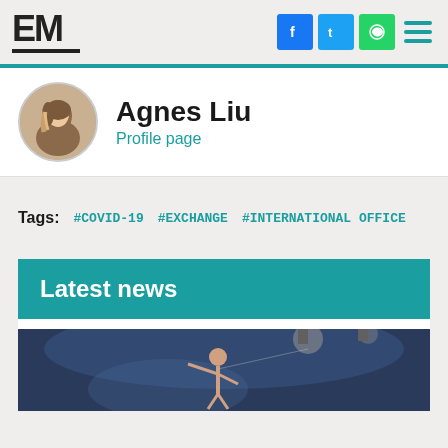EM
[Figure (photo): Profile photo of Agnes Liu, a young Asian woman with highlighted hair]
Agnes Liu
Profile page
Tags: #COVID-19 #EXCHANGE #INTERNATIONAL OFFICE
Latest news
[Figure (photo): News article image showing a performer on stage with dramatic lighting]